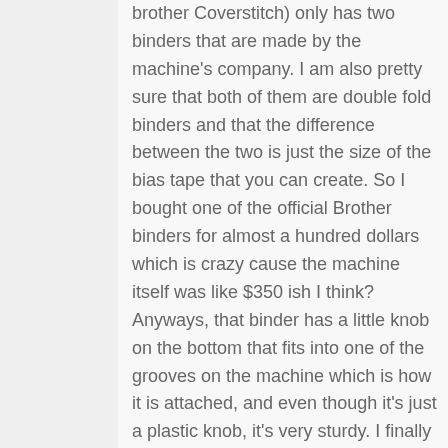brother Coverstitch) only has two binders that are made by the machine's company. I am also pretty sure that both of them are double fold binders and that the difference between the two is just the size of the bias tape that you can create. So I bought one of the official Brother binders for almost a hundred dollars which is crazy cause the machine itself was like $350 ish I think? Anyways, that binder has a little knob on the bottom that fits into one of the grooves on the machine which is how it is attached, and even though it's just a plastic knob, it's very sturdy. I finally learned to use the binder, after a very looooong learning curve, but I realized that the binding it produced was bigger than